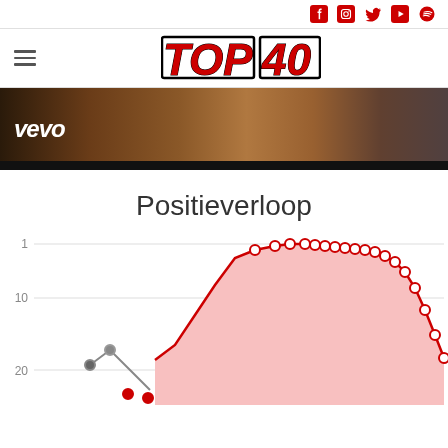Social icons: Facebook, Instagram, Twitter, YouTube, Spotify
[Figure (logo): TOP 40 logo in red italic bold with black outline]
[Figure (photo): Vevo music video banner with person and warm toned background]
Positieverloop
[Figure (line-chart): Line chart showing chart position over time. Y-axis shows positions 1, 10, 20 (inverted, 1 at top). Red filled area chart with white circle data points at top, grey line with dark points at lower position at left side of chart.]